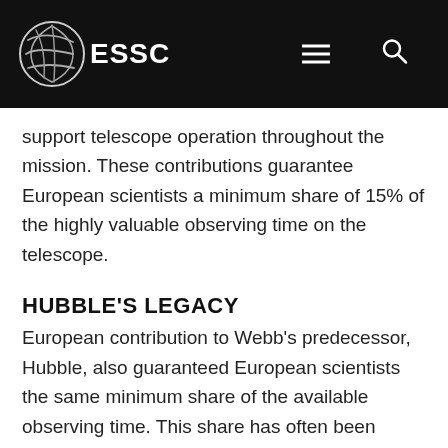ESSC
support telescope operation throughout the mission. These contributions guarantee European scientists a minimum share of 15% of the highly valuable observing time on the telescope.
HUBBLE'S LEGACY
European contribution to Webb's predecessor, Hubble, also guaranteed European scientists the same minimum share of the available observing time. This share has often been significantly higher in the past through open competition, with nearly 800 European observing programmes being